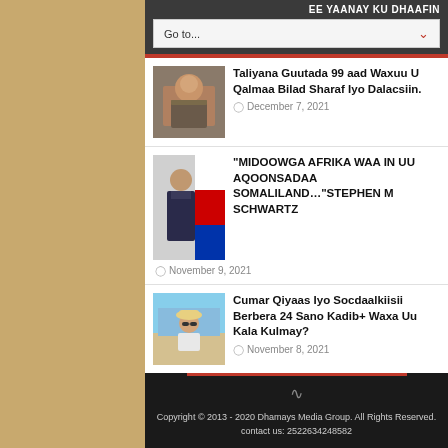EE YAANAY KU DHAAFIN
Go to...
[Figure (photo): Thumbnail photo of military officer]
Taliyana Guutada 99 aad Waxuu U Qalmaa Bilad Sharaf Iyo Dalacsiin.
December 7, 2021
[Figure (photo): Thumbnail photo of man in suit standing near flag]
“MIDOOWGA AFRIKA WAA IN UU AQOONSADAA SOMALILAND…”STEPHEN M SCHWARTZ
November 9, 2021
[Figure (photo): Thumbnail photo of person with sunglasses near beach]
Cumar Qiyaas Iyo Socdaalkiisii Berbera 24 Sano Kadib+ Waxa Uu Kala Kulmay?
November 8, 2021
Copyright © 2013 - 2020 Dhamays Media Group. All Rights Reserved. contact us: 2522634248582